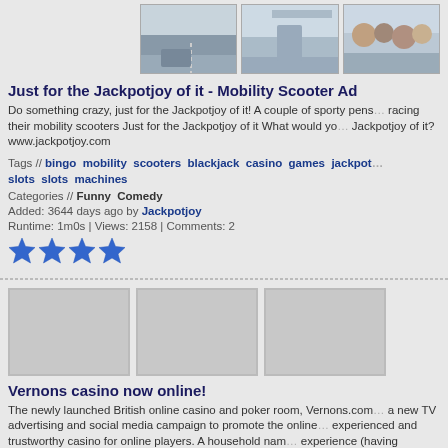[Figure (photo): Three video thumbnails: road scene with person on mobility scooter, bridge scene with person in checkered outfit, crowd scene with people and car]
Just for the Jackpotjoy of it - Mobility Scooter Ad
Do something crazy, just for the Jackpotjoy of it! A couple of sporty pensioners racing their mobility scooters Just for the Jackpotjoy of it What would you do Just for the Jackpotjoy of it? www.jackpotjoy.com
Tags // bingo mobility scooters blackjack casino games jackpotjoy slots slots machines
Categories // Funny Comedy
Added: 3644 days ago by Jackpotjoy
Runtime: 1m0s | Views: 2158 | Comments: 2
[Figure (other): Four blue star rating icons]
[Figure (photo): Three gray placeholder video thumbnails]
Vernons casino now online!
The newly launched British online casino and poker room, Vernons.com, has launched a new TV advertising and social media campaign to promote the online casino as an experienced and trustworthy casino for online players. A household name with years of experience (having launched the famous football pools in 1925), Vernons has a long history and reputation within gaming, to bring to online casino and poker... News Release, go to http://www.multiv.com/mpr/59759-vernons-casino...